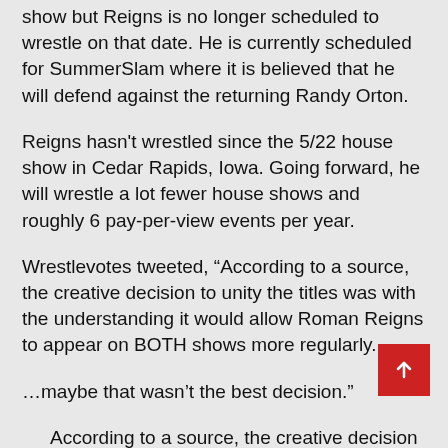show but Reigns is no longer scheduled to wrestle on that date. He is currently scheduled for SummerSlam where it is believed that he will defend against the returning Randy Orton.
Reigns hasn't wrestled since the 5/22 house show in Cedar Rapids, Iowa. Going forward, he will wrestle a lot fewer house shows and roughly 6 pay-per-view events per year.
Wrestlevotes tweeted, “According to a source, the creative decision to unity the titles was with the understanding it would allow Roman Reigns to appear on BOTH shows more regularly.
…maybe that wasn’t the best decision.”
According to a source, the creative decision